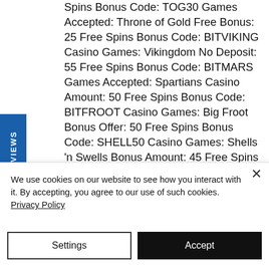Spins Bonus Code: TOG30 Games Accepted: Throne of Gold Free Bonus: 25 Free Spins Bonus Code: BITVIKING Casino Games: Vikingdom No Deposit: 55 Free Spins Bonus Code: BITMARS Games Accepted: Spartians Casino Amount: 50 Free Spins Bonus Code: BITFROOT Casino Games: Big Froot Bonus Offer: 50 Free Spins Bonus Code: SHELL50 Casino Games: Shells 'n Swells Bonus Amount: 45 Free Spins Bonus Code: BITZEN Casino Games: 7 Chakras. The Category of Games at Cryptothrills Casino, битстарз казино
REVIEWS
We use cookies on our website to see how you interact with it. By accepting, you agree to our use of such cookies. Privacy Policy
Settings
Accept